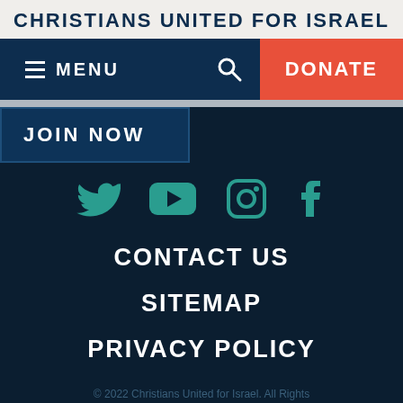CHRISTIANS UNITED FOR ISRAEL
[Figure (screenshot): Navigation bar with hamburger menu (MENU), search icon, and DONATE button]
JOIN NOW
[Figure (infographic): Social media icons: Twitter, YouTube, Instagram, Facebook in teal color]
CONTACT US
SITEMAP
PRIVACY POLICY
© 2022 Christians United for Israel. All Rights